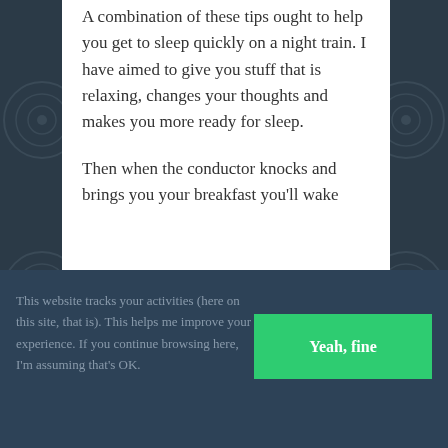A combination of these tips ought to help you get to sleep quickly on a night train. I have aimed to give you stuff that is relaxing, changes your thoughts and makes you more ready for sleep.

Then when the conductor knocks and brings you your breakfast you'll wake
This website tracks your activities (here on this site, that is). This helps me improve your experience. If you continue browsing here, I'm assuming that's OK.